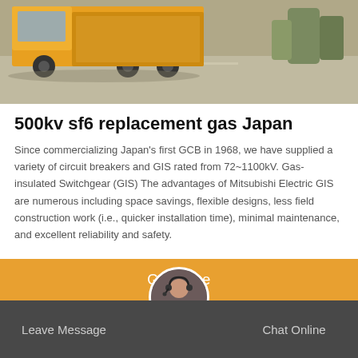[Figure (photo): Top portion of a photo showing a large truck on a road/outdoor setting with asphalt and trees in background]
500kv sf6 replacement gas Japan
Since commercializing Japan's first GCB in 1968, we have supplied a variety of circuit breakers and GIS rated from 72~1100kV. Gas-insulated Switchgear (GIS) The advantages of Mitsubishi Electric GIS are numerous including space savings, flexible designs, less field construction work (i.e., quicker installation time), minimal maintenance, and excellent reliability and safety.
Get Price
Leave Message
Chat Online